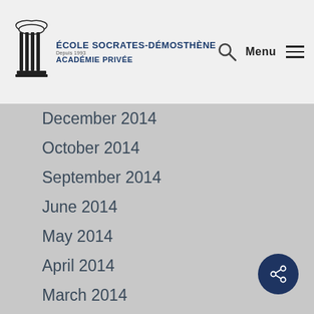École Socrates-Démosthène — Académie Privée — Menu
December 2014
October 2014
September 2014
June 2014
May 2014
April 2014
March 2014
February 2014
January 2014
December 2013
November 2013